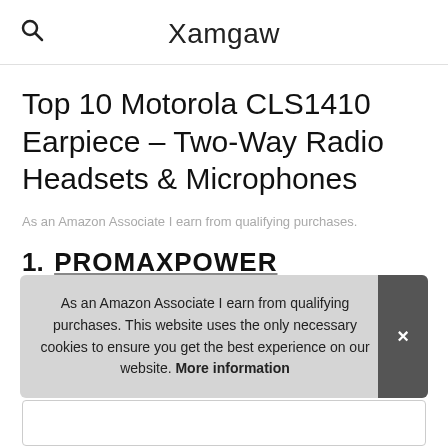Xamgaw
Top 10 Motorola CLS1410 Earpiece – Two-Way Radio Headsets & Microphones
As an Amazon Associate I earn from qualifying purchases.
1. PROMAXPOWER
#ad
As an Amazon Associate I earn from qualifying purchases. This website uses the only necessary cookies to ensure you get the best experience on our website. More information